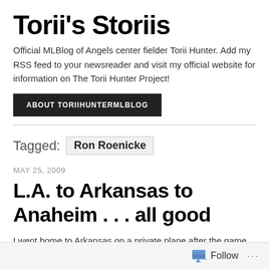Torii's Storiis
Official MLBlog of Angels center fielder Torii Hunter. Add my RSS feed to your newsreader and visit my official website for information on The Torii Hunter Project!
ABOUT TORIIHUNTERMLBLOG
Tagged: Ron Roenicke
MAY 25, 2009
L.A. to Arkansas to Anaheim . . . all good
I went home to Arkansas on a private plane after the game yesterday at Dodger Stadium to be with family, attend services for my grandmother